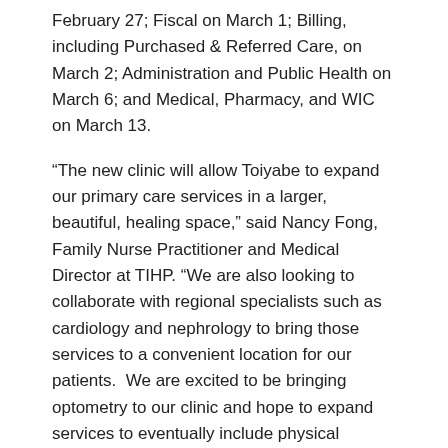February 27; Fiscal on March 1; Billing, including Purchased & Referred Care, on March 2; Administration and Public Health on March 6; and Medical, Pharmacy, and WIC on March 13.
“The new clinic will allow Toiyabe to expand our primary care services in a larger, beautiful, healing space,” said Nancy Fong, Family Nurse Practitioner and Medical Director at TIHP. “We are also looking to collaborate with regional specialists such as cardiology and nephrology to bring those services to a convenient location for our patients.  We are excited to be bringing optometry to our clinic and hope to expand services to eventually include physical therapy and other specialty services.”
The new clinic will have 45% more examination rooms, allowing the necessary space for TIHP services to expand and grow. This will allow TIHP to be more efficient and